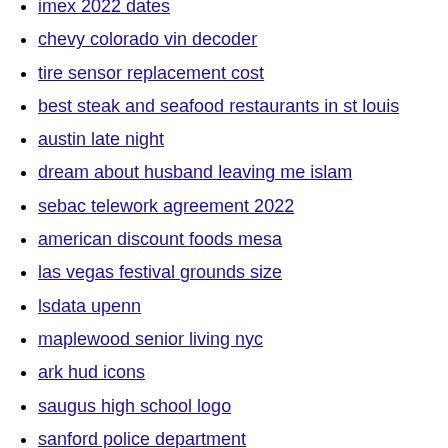imex 2022 dates
chevy colorado vin decoder
tire sensor replacement cost
best steak and seafood restaurants in st louis
austin late night
dream about husband leaving me islam
sebac telework agreement 2022
american discount foods mesa
las vegas festival grounds size
lsdata upenn
maplewood senior living nyc
ark hud icons
saugus high school logo
sanford police department
apartment with bad credit
fresno bee used cars for sale
homes for sale in st thomas
406 stroker ls
ktla car crash
fema trailers for sale near new orleans la
zendesk oauth scopes
9mm 100rds
used mobile homes for sale in colorado springs
fideles crossword clue
mini bernedoodle breeders near me